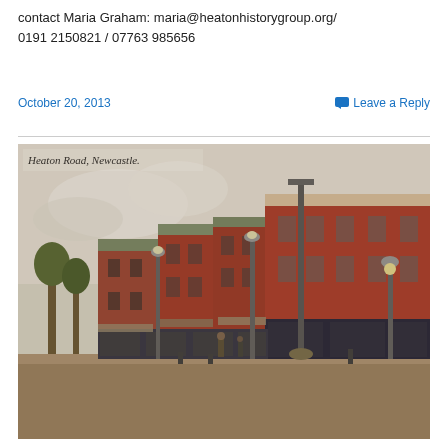contact Maria Graham: maria@heatonhistorygroup.org/
0191 2150821 / 07763 985656
October 20, 2013
Leave a Reply
[Figure (photo): Vintage colourised postcard of Heaton Road, Newcastle, showing a row of red-brick Victorian terraced shops with awnings and street lamps along a cobbled road. Caption text reads 'Heaton Road, Newcastle.']